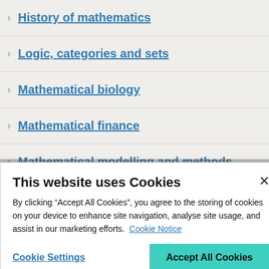History of mathematics
Logic, categories and sets
Mathematical biology
Mathematical finance
Mathematical modelling and methods
Mathematical tables and handbooks
This website uses Cookies
By clicking “Accept All Cookies”, you agree to the storing of cookies on your device to enhance site navigation, analyse site usage, and assist in our marketing efforts. Cookie Notice
Cookie Settings
Accept All Cookies